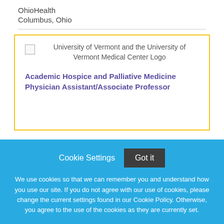OhioHealth
Columbus, Ohio
[Figure (logo): University of Vermont and the University of Vermont Medical Center Logo (broken image placeholder)]
Academic Hospice and Palliative Medicine Physician Assistant/Associate Professor
Cookie Settings
Got it
We use cookies so that we can remember you and understand how you use our site. If you do not agree with our use of cookies, please change the current settings found in our Cookie Policy. Otherwise, you agree to the use of the cookies as they are currently set.